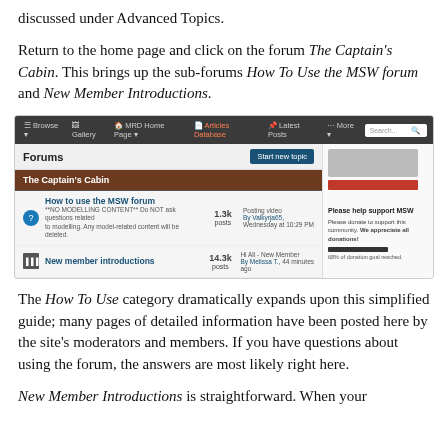discussed under Advanced Topics.
Return to the home page and click on the forum The Captain's Cabin. This brings up the sub-forums How To Use the MSW forum and New Member Introductions.
[Figure (screenshot): Screenshot of the MSW forum page showing The Captain's Cabin section with two sub-forums: How to use the MSW forum (1.3k posts) and New member introductions (14.3k posts), plus a donation sidebar.]
The How To Use category dramatically expands upon this simplified guide; many pages of detailed information have been posted here by the site's moderators and members. If you have questions about using the forum, the answers are most likely right here.
New Member Introductions is straightforward. When your